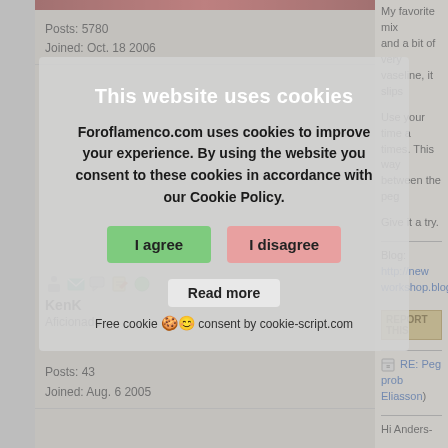Posts: 5780
Joined: Oct. 18 2006
My favorite mix
and a bit of very
vaseline, it slips
Use your time a
times. This way
between the peg
Give it a try.
Blog: http://new
workshop.blogs
REPORT THIS
RE: Peg prob
Eliasson)
Hi Anders-
Yes- I'm using th
I'll try the vaseli
Don't think I nee
the problem)
How do you mix
The peg dope I l
[Figure (screenshot): Cookie consent modal overlay on a forum page. Title: 'This website uses cookies'. Body text: 'Foroflamenco.com uses cookies to improve your experience. By using the website you consent to these cookies in accordance with our Cookie Policy.' Buttons: 'I agree' (green) and 'I disagree' (pink/red). 'Read more' link. Footer: 'Free cookie consent by cookie-script.com']
KenK
Aficionado
Posts: 43
Joined: Aug. 6 2005